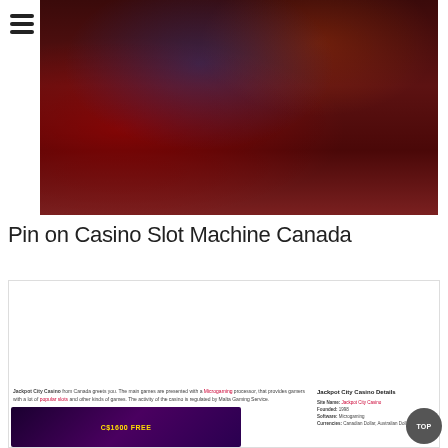[Figure (photo): Interior of a casino with red carpet, slot machines, bar stools, and neon lighting]
Pin on Casino Slot Machine Canada
[Figure (screenshot): Screenshot of Slots Canada website showing navigation bar, Jackpot City Casino listing with 4x deposit bonuses up to C$1600, star rating, and PLAY NOW button. Below shows text about Jackpot City Casino and sidebar with casino details.]